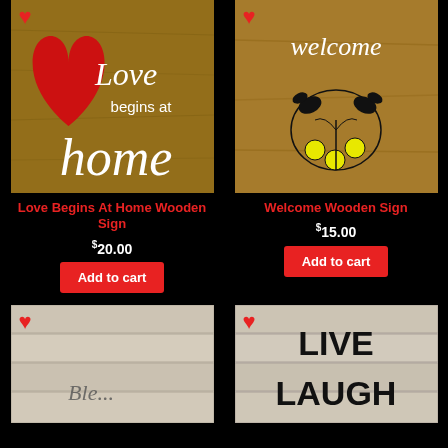[Figure (photo): Wooden sign with red heart cutout and white script text reading 'Love begins at home' on wood background. Red heart icon in top-left corner.]
Love Begins At Home Wooden Sign
$20.00
Add to cart
[Figure (photo): Wooden sign with white script text 'welcome' at top and black floral/butterfly design with yellow flowers. Red heart icon in top-left corner.]
Welcome Wooden Sign
$15.00
Add to cart
[Figure (photo): Partial view of a whitewashed wood plank sign with script text partially visible. Red heart icon in top-left corner.]
[Figure (photo): Partial view of a whitewashed wood plank sign with large black text 'LIVE LAUGH'. Red heart icon in top-left corner.]